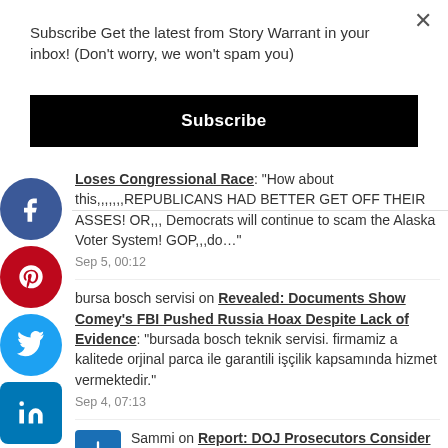Subscribe Get the latest from Story Warrant in your inbox! (Don't worry, we won't spam you)
Subscribe
Loses Congressional Race: "How about this,,,,,,,REPUBLICANS HAD BETTER GET OFF THEIR ASSES! OR,,, Democrats will continue to scam the Alaska Voter System! GOP,,,do..." Sep 5, 00:12
bursa bosch servisi on Revealed: Documents Show Comey's FBI Pushed Russia Hoax Despite Lack of Evidence: "bursada bosch teknik servisi. firmamiz a kalitede orjinal parca ile garantili işçilik kapsamında hizmet vermektedir." Sep 4, 07:13
Sammi on Report: DOJ Prosecutors Consider Delayed Indictment of Trump: "You know Trump wouldn't leave anything like that on the floor. Even if he did the cleaning